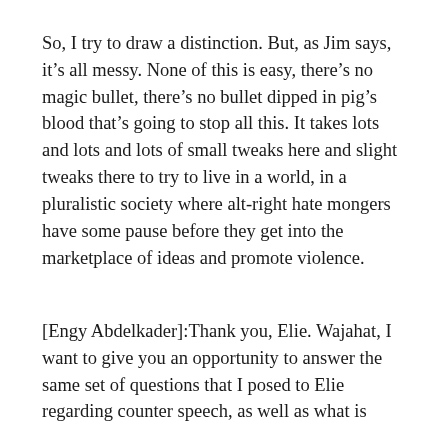So, I try to draw a distinction. But, as Jim says, it's all messy. None of this is easy, there's no magic bullet, there's no bullet dipped in pig's blood that's going to stop all this. It takes lots and lots and lots of small tweaks here and slight tweaks there to try to live in a world, in a pluralistic society where alt-right hate mongers have some pause before they get into the marketplace of ideas and promote violence.
[Engy Abdelkader]:Thank you, Elie. Wajahat, I want to give you an opportunity to answer the same set of questions that I posed to Elie regarding counter speech, as well as what is